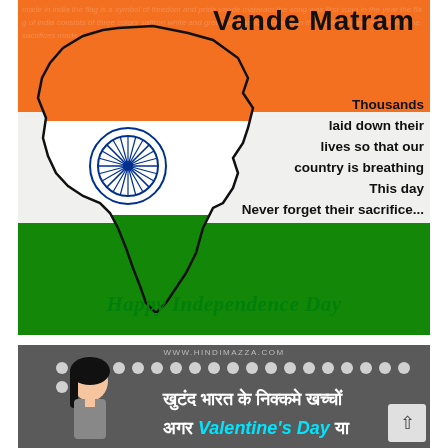[Figure (illustration): Indian Independence Day greeting card showing a map of India filled with the tricolor (saffron, white, green) with Ashoka Chakra, text 'Vande Matram' at top, a patriotic quote 'Thousands laid down their lives so that our country is breathing This day Never forget their sacrifice...' and 'Happy Independence Day' at the bottom in green italic font.]
[Figure (illustration): Dark grey banner with decorative dot pattern, a cartoon woman on the left, Hindi text 'खुटंद भारत के निक्कमे खच्चों अगर Valentine's Day या' in white and cyan, website URL 'www.hindimazza.com' at top, and a scroll-up button on the right.]